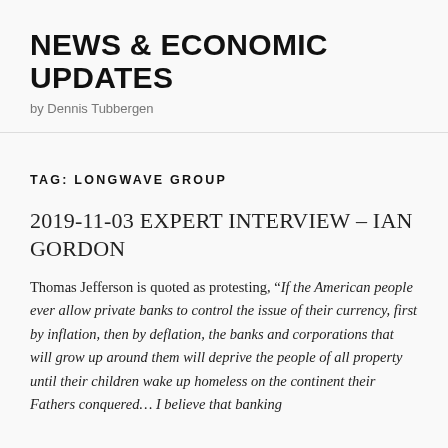NEWS & ECONOMIC UPDATES
by Dennis Tubbergen
TAG: LONGWAVE GROUP
2019-11-03 EXPERT INTERVIEW – IAN GORDON
Thomas Jefferson is quoted as protesting, “If the American people ever allow private banks to control the issue of their currency, first by inflation, then by deflation, the banks and corporations that will grow up around them will deprive the people of all property until their children wake up homeless on the continent their Fathers conquered… I believe that banking